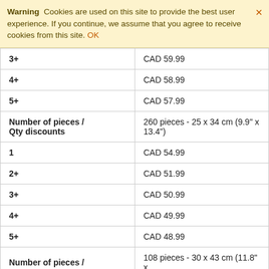Warning  Cookies are used on this site to provide the best user experience. If you continue, we assume that you agree to receive cookies from this site. OK
| 3+ | CAD 59.99 |
| 4+ | CAD 58.99 |
| 5+ | CAD 57.99 |
| Number of pieces / Qty discounts | 260 pieces - 25 x 34 cm (9.9" x 13.4") |
| 1 | CAD 54.99 |
| 2+ | CAD 51.99 |
| 3+ | CAD 50.99 |
| 4+ | CAD 49.99 |
| 5+ | CAD 48.99 |
| Number of pieces / | 108 pieces - 30 x 43 cm (11.8" x |